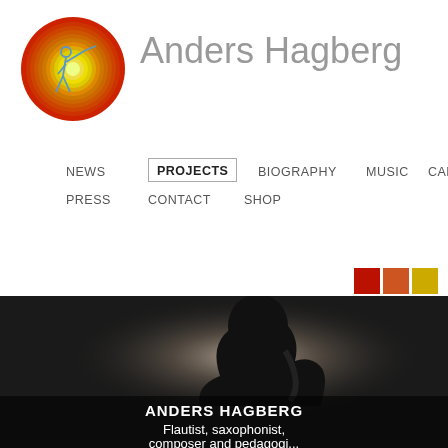[Figure (logo): Circular logo with concentric rings in red, orange, yellow gradient and a silhouette of a person playing a wind instrument, outlined in blue]
Anders Hagberg
NEWS
PROJECTS
BIOGRAPHY
MUSIC
CALENDAR
PRESS
CONTACT
SHOP
[Figure (photo): Black and white dramatic photo of a silhouetted musician playing saxophone on stage with bright backlight, with overlay text reading ANDERS HAGBERG – Flautist, saxophonist, composer and pedagogi...]